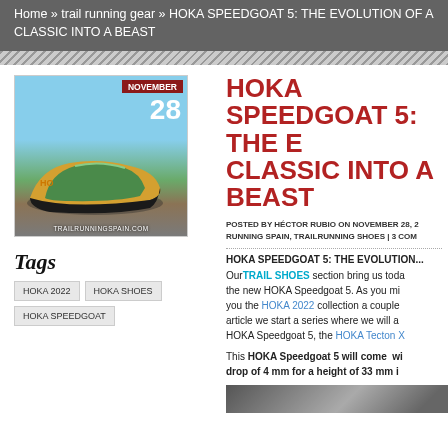Home » trail running gear » HOKA SPEEDGOAT 5: THE EVOLUTION OF A CLASSIC INTO A BEAST
[Figure (photo): Photo of HOKA Speedgoat 5 trail running shoes on rocky terrain with mountain lake background. Date badge shows NOVEMBER 28. Site label: TRAILRUNNINGSPAIN.COM]
HOKA SPEEDGOAT 5: THE EVOLUTION OF A CLASSIC INTO A BEAST
POSTED BY HÉCTOR RUBIO ON NOVEMBER 28, ... RUNNING SPAIN, TRAILRUNNING SHOES | 3 COMMENTS
HOKA SPEEDGOAT 5: THE EVOLUTION OF...
Our TRAIL SHOES section bring us today the new HOKA Speedgoat 5. As you may know, we showed you the HOKA 2022 collection a couple months ago. With this article we start a series where we will analyse the HOKA Speedgoat 5, the HOKA Tecton X...
This HOKA Speedgoat 5 will come with a stack drop of 4 mm for a height of 33 mm in...
TAGS
HOKA 2022
HOKA SHOES
HOKA SPEEDGOAT